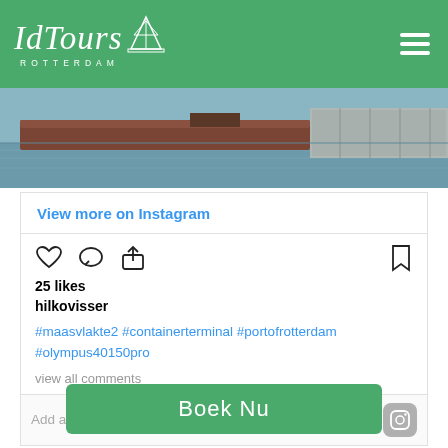[Figure (logo): IdTours Rotterdam logo in white italic script on green header background, with a small bridge/sailboat icon]
[Figure (photo): Photograph of a barge and container terminal on a river (Maasvlakte), grey-blue water with industrial structures]
View more on Instagram
[Figure (infographic): Instagram action icons: heart (like), comment bubble, share/upload arrow, and bookmark icon]
25 likes
hilkovisser
#maasvlakte2 #containerterminal #portofrotterdam #olympus40150pro
view all comments
Add a comment...
Boek Nu